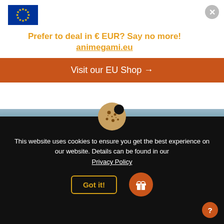[Figure (infographic): EU flag icon — blue rectangle with gold stars in a circle]
Prefer to deal in € EUR? Say no more! animegami.eu
Visit our EU Shop →
[Figure (photo): Partial product image strip, blue/grey tones]
GOOD SMILE COMPANY
HORIZON FORBIDDEN WEST NENDOROID ACTION FIGURE ALOY 10 CM
£61.99
[Figure (illustration): Cookie emoji icon on black background]
This website uses cookies to ensure you get the best experience on our website. Details can be found in our
Privacy Policy
Got it!